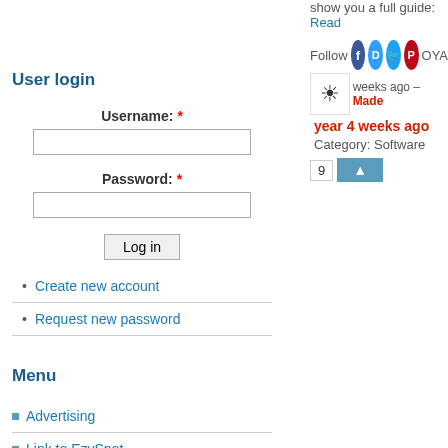show you a full guide. Read
[Figure (screenshot): Social follow icons row: Follow label, Facebook, Disqus, Twitter, Pinterest circular icons, and OYA text. Below: sun icon box, 'weeks ago – Made' in red, 'year 4 weeks ago' in red, 'Category: Software' in gray. Vote row: 9 box and blue arrow-up button.]
User login
Username: *
Password: *
Log in
Create new account
Request new password
Menu
Advertising
Link to EzySpot